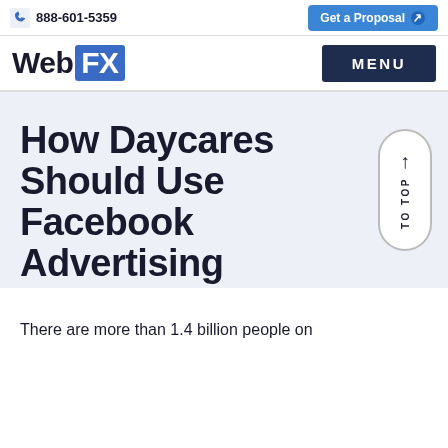888-601-5359  Get a Proposal
WebFX  MENU
How Daycares Should Use Facebook Advertising
There are more than 1.4 billion people on